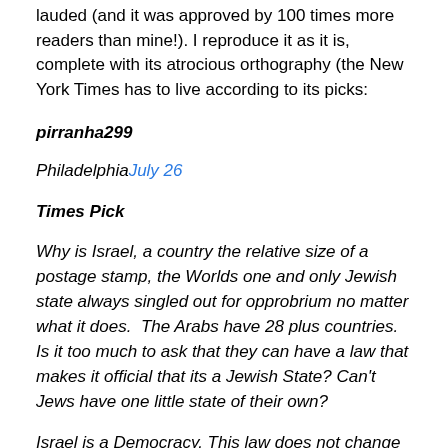lauded (and it was approved by 100 times more readers than mine!). I reproduce it as it is, complete with its atrocious orthography (the New York Times has to live according to its picks:
pirranha299
PhiladelphiaJuly 26
Times Pick
Why is Israel, a country the relative size of a postage stamp, the Worlds one and only Jewish state always singled out for opprobrium no matter what it does.  The Arabs have 28 plus countries. Is it too much to ask that they can have a law that makes it official that its a Jewish State? Can't Jews have one little state of their own?
Israel is a Democracy. This law does not change that.  It